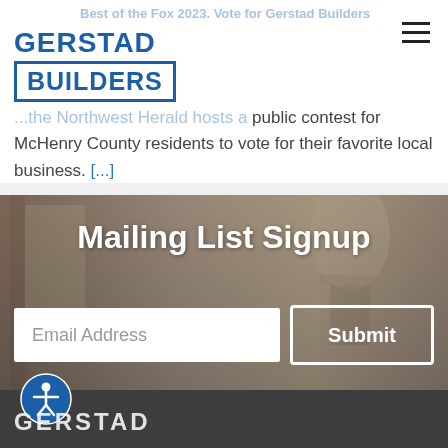[Figure (logo): Gerstad Builders logo in blue with company name in bold text and a rectangular border around BUILDERS]
Best of the Fox 2023. Vote for Gerstad Builders
...the Northwest Herald hosts a public contest for McHenry County residents to vote for their favorite local business. [...]
Mailing List Signup
Email Address
Submit
[Figure (logo): Gerstad Builders footer logo in white text on dark gray background]
[Figure (illustration): Accessibility icon - person in circle symbol]